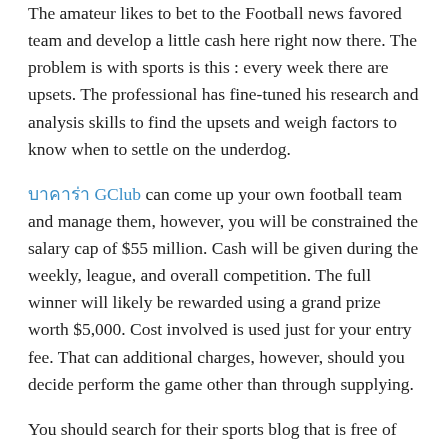The amateur likes to bet to the Football news favored team and develop a little cash here right now there. The problem is with sports is this : every week there are upsets. The professional has fine-tuned his research and analysis skills to find the upsets and weigh factors to know when to settle on the underdog.
บาคาร่า GClub can come up your own football team and manage them, however, you will be constrained the salary cap of $55 million. Cash will be given during the weekly, league, and overall competition. The full winner will likely be rewarded using a grand prize worth $5,000. Cost involved is used just for your entry fee. That can additional charges, however, should you decide perform the game other than through supplying.
You should search for their sports blog that is free of charge and is tailored on the sports that most interest your entire family. There are numerous reasons why individuals all walks of life agree and seek for free sports blogs. Provides people chance to to choose a sports blog and discuss a sports topic together with